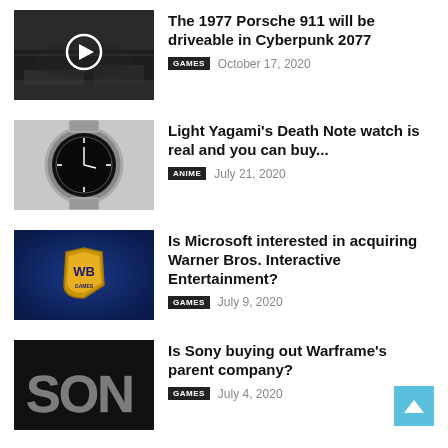[Figure (photo): Cyberpunk 2077 dark industrial scene with a play button overlay]
The 1977 Porsche 911 will be driveable in Cyberpunk 2077
GAMES  October 17, 2020
[Figure (photo): Close-up of a dark analog wristwatch with silver bracelet]
Light Yagami’s Death Note watch is real and you can buy...
ANIME  July 21, 2020
[Figure (photo): WB Games logo on dark blue background]
Is Microsoft interested in acquiring Warner Bros. Interactive Entertainment?
GAMES  July 9, 2020
[Figure (photo): Sony metallic letters on dark background]
Is Sony buying out Warframe’s parent company?
GAMES  July 4, 2020